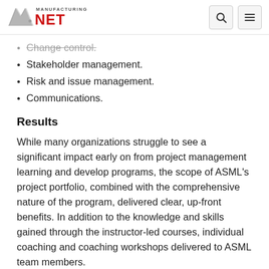Manufacturing.net
Change control. (partial/strikethrough)
Stakeholder management.
Risk and issue management.
Communications.
Results
While many organizations struggle to see a significant impact early on from project management learning and develop programs, the scope of ASML's project portfolio, combined with the comprehensive nature of the program, delivered clear, up-front benefits. In addition to the knowledge and skills gained through the instructor-led courses, individual coaching and coaching workshops delivered to ASML team members.